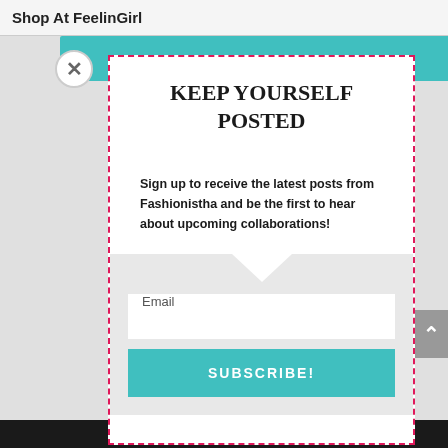Shop At FeelinGirl
KEEP YOURSELF POSTED
Sign up to receive the latest posts from Fashionistha and be the first to hear about upcoming collaborations!
Email
SUBSCRIBE!